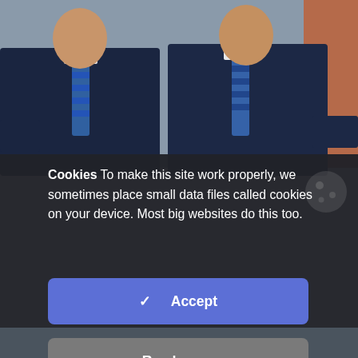[Figure (photo): Two men in dark business suits and ties, photographed from the chest up against a brick wall background. The image is partially obscured by a cookie consent modal overlay.]
Cookies To make this site work properly, we sometimes place small data files called cookies on your device. Most big websites do this too.
✓ Accept
Read more
Cookies Settings ⚙